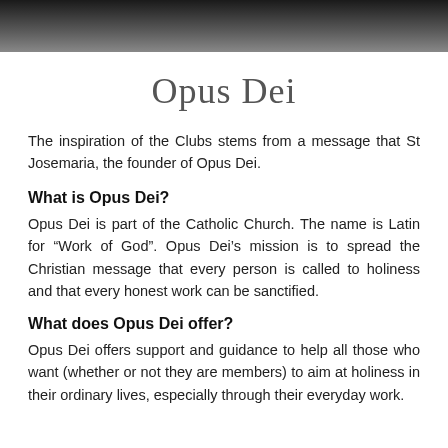[Figure (photo): Partial black and white photo of a person, cropped at top of page]
Opus Dei
The inspiration of the Clubs stems from a message that St Josemaria, the founder of Opus Dei.
What is Opus Dei?
Opus Dei is part of the Catholic Church. The name is Latin for “Work of God”. Opus Dei’s mission is to spread the Christian message that every person is called to holiness and that every honest work can be sanctified.
What does Opus Dei offer?
Opus Dei offers support and guidance to help all those who want (whether or not they are members) to aim at holiness in their ordinary lives, especially through their everyday work.